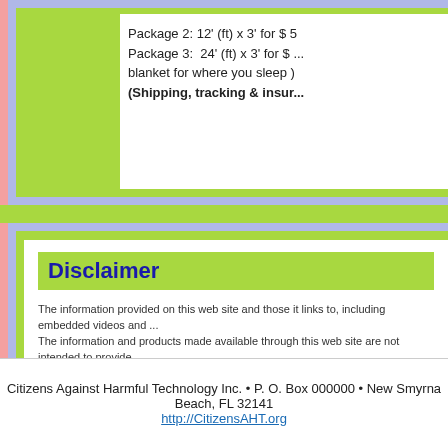Package 2: 12' (ft) x 3' for $ 5
Package 3:  24' (ft) x 3' for $ ...
blanket for where you sleep )
(Shipping, tracking & insur...
Disclaimer
The information provided on this web site and those it links to, including embedded videos and ... The information and products made available through this web site are not intended to provide ... construed as a therapeutic recommendation or prescription for any disease or symptom. The U... statements about specific products, health topics, or any suggested methods presented. Viewer... and should not discontinue any medication or therapy or make any health-related decisions wit... with a physician or healthcare professional before starting any diet, exercise, or supplementatio... or if you have or suspect you might have a health problem. Each person is different, and the wa... the way other people react to such product. You should consult your physician or healthcare pr... medication you are currently taking and nutritional supplements before taking any such supplem... loss, or risk incurred, directly or indirectly, as a result of the use and application of the contents... should not view this site or newsletter.
Citizens Against Harmful Technology Inc.  •  P. O. Box 000000  •  New Smyrna Beach, FL 32141
http://CitizensAHT.org